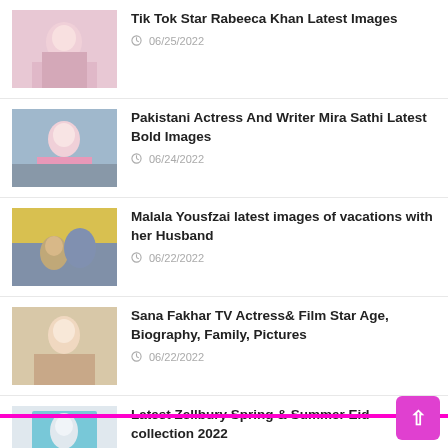Tik Tok Star Rabeeca Khan Latest Images
06/25/2022
Pakistani Actress And Writer Mira Sathi Latest Bold Images
06/24/2022
Malala Yousfzai latest images of vacations with her Husband
06/22/2022
Sana Fakhar TV Actress& Film Star Age, Biography, Family, Pictures
06/22/2022
Latest Zellbury Spring & Summer Eid collection 2022
06/20/2022